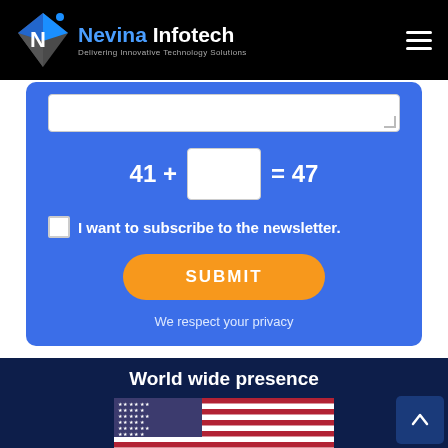Nevina Infotech - Delivering Innovative Technology Solutions
[Figure (screenshot): Contact/newsletter form on blue card with CAPTCHA (41 + [blank] = 47), newsletter subscription checkbox, orange SUBMIT button, and privacy note]
We respect your privacy
World wide presence
[Figure (illustration): US flag partially visible at the bottom of the page]